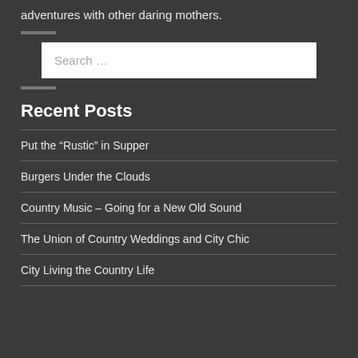adventures with other daring mothers.
Recent Posts
Put the “Rustic” in Supper
Burgers Under the Clouds
Country Music – Going for a New Old Sound
The Union of Country Weddings and City Chic
City Living the Country Life